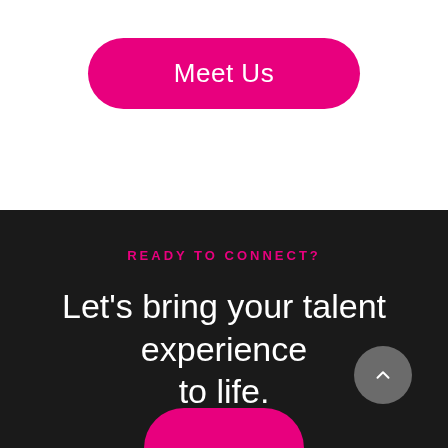Meet Us
READY TO CONNECT?
Let's bring your talent experience to life.